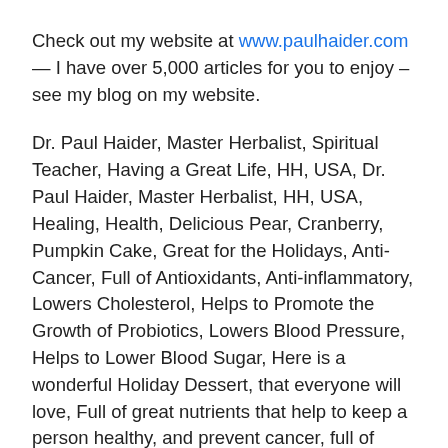Check out my website at www.paulhaider.com — I have over 5,000 articles for you to enjoy – see my blog on my website.
Dr. Paul Haider, Master Herbalist, Spiritual Teacher, Having a Great Life, HH, USA, Dr. Paul Haider, Master Herbalist, HH, USA, Healing, Health, Delicious Pear, Cranberry, Pumpkin Cake, Great for the Holidays, Anti-Cancer, Full of Antioxidants, Anti-inflammatory, Lowers Cholesterol, Helps to Promote the Growth of Probiotics, Lowers Blood Pressure, Helps to Lower Blood Sugar, Here is a wonderful Holiday Dessert, that everyone will love, Full of great nutrients that help to keep a person healthy, and prevent cancer, full of antioxidants, it's anti-inflammatory, lowers cholesterol, and blood pressure, And this recipe is so simple, and that is important during the